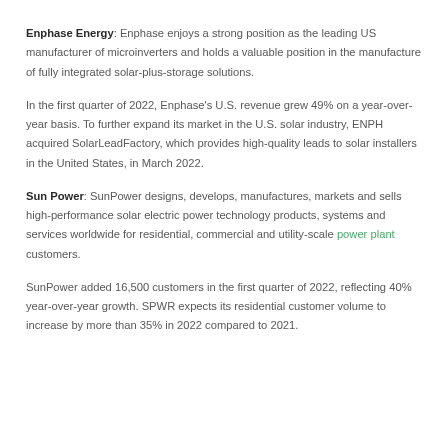Enphase Energy: Enphase enjoys a strong position as the leading US manufacturer of microinverters and holds a valuable position in the manufacture of fully integrated solar-plus-storage solutions.
In the first quarter of 2022, Enphase's U.S. revenue grew 49% on a year-over-year basis. To further expand its market in the U.S. solar industry, ENPH acquired SolarLeadFactory, which provides high-quality leads to solar installers in the United States, in March 2022.
Sun Power: SunPower designs, develops, manufactures, markets and sells high-performance solar electric power technology products, systems and services worldwide for residential, commercial and utility-scale power plant customers.
SunPower added 16,500 customers in the first quarter of 2022, reflecting 40% year-over-year growth. SPWR expects its residential customer volume to increase by more than 35% in 2022 compared to 2021.